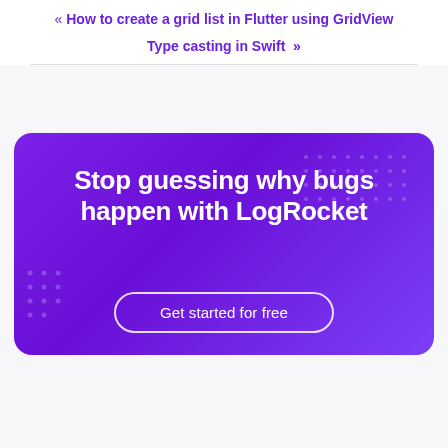« How to create a grid list in Flutter using GridView
Type casting in Swift »
[Figure (infographic): LogRocket promotional banner with purple gradient background, dot patterns, headline 'Stop guessing why bugs happen with LogRocket', and 'Get started for free' button]